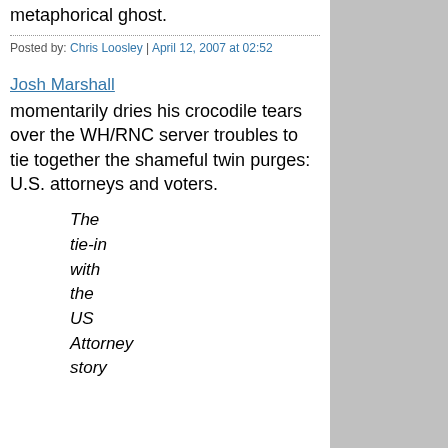metaphorical ghost.
Posted by: Chris Loosley | April 12, 2007 at 02:52
Josh Marshall momentarily dries his crocodile tears over the WH/RNC server troubles to tie together the shameful twin purges: U.S. attorneys and voters.
The tie-in with the US Attorney story